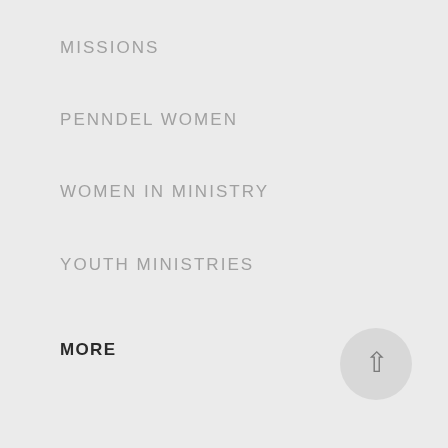MISSIONS
PENNDEL WOMEN
WOMEN IN MINISTRY
YOUTH MINISTRIES
MORE
EVENTS
MEDIA
CONTACT US
MYPENNDEL
[Figure (illustration): Circular scroll-to-top button with upward arrow on light gray background]